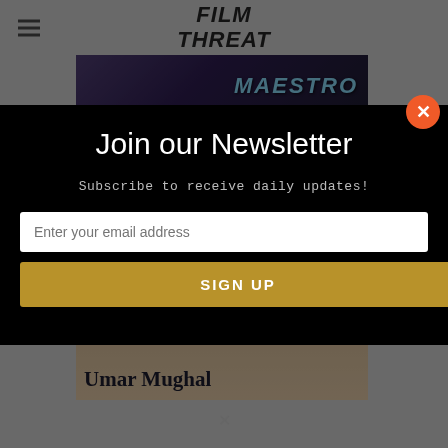Film Threat
[Figure (screenshot): Banner image showing 'MAESTRO' text with purple/blue gradient background and person in foreground]
Join our Newsletter
Subscribe to receive daily updates!
Enter your email address
SIGN UP
[Figure (photo): Photo of a man (Umar Mughal) smiling, with text overlay 'Umar Mughal']